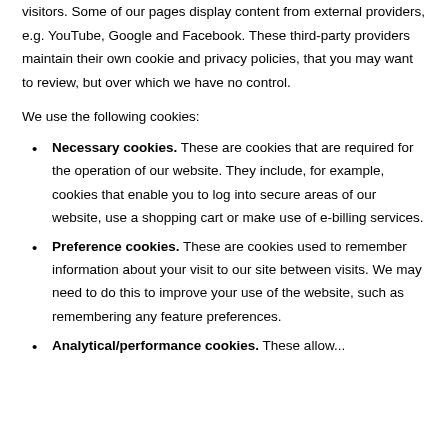visitors. Some of our pages display content from external providers, e.g. YouTube, Google and Facebook. These third-party providers maintain their own cookie and privacy policies, that you may want to review, but over which we have no control.
We use the following cookies:
Necessary cookies. These are cookies that are required for the operation of our website. They include, for example, cookies that enable you to log into secure areas of our website, use a shopping cart or make use of e-billing services.
Preference cookies. These are cookies used to remember information about your visit to our site between visits. We may need to do this to improve your use of the website, such as remembering any feature preferences.
Analytical/performance cookies. These allow...